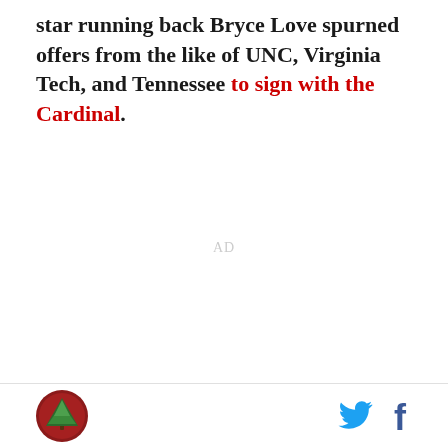star running back Bryce Love spurned offers from the like of UNC, Virginia Tech, and Tennessee to sign with the Cardinal.
AD
The Wake Forest native was 247 Sports' #6 overall all
[Figure (logo): Site logo: red circle with pine tree illustration]
[Figure (illustration): Twitter bird icon in blue and Facebook f icon in dark blue, social sharing buttons]